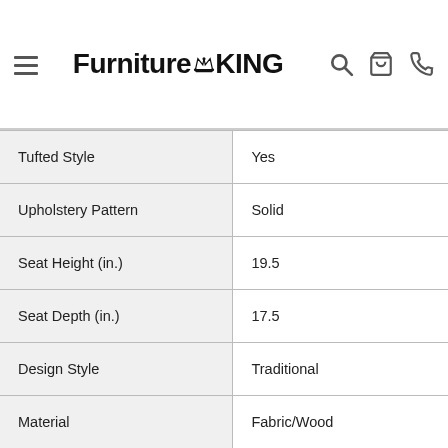Furniture King
| Property | Value |
| --- | --- |
| Tufted Style | Yes |
| Upholstery Pattern | Solid |
| Seat Height (in.) | 19.5 |
| Seat Depth (in.) | 17.5 |
| Design Style | Traditional |
| Material | Fabric/Wood |
| Depth (in.) | 28.5 |